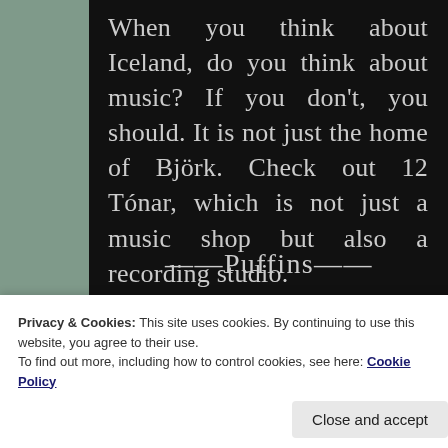When you think about Iceland, do you think about music? If you don't, you should. It is not just the home of Björk. Check out 12 Tónar, which is not just a music shop but also a recording studio.
——Puffins——
Privacy & Cookies: This site uses cookies. By continuing to use this website, you agree to their use.
To find out more, including how to control cookies, see here: Cookie Policy
Close and accept